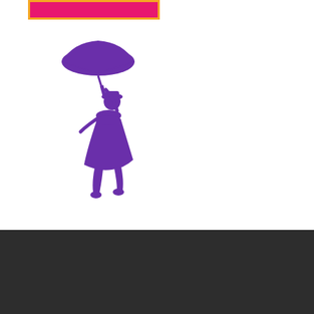[Figure (illustration): Pink/magenta banner with yellow-orange border at top, and a purple silhouette illustration of a Mary Poppins-like figure floating with an umbrella]
Top Cities for Online Babysitting:
Atlanta
Austin